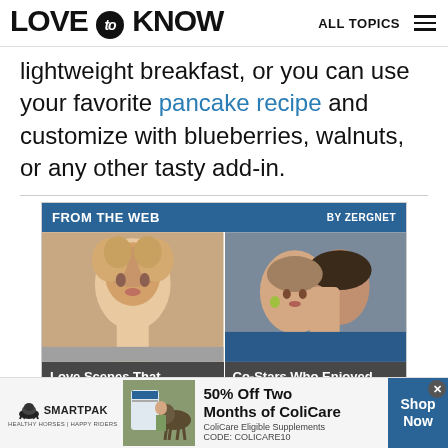LOVE to KNOW   ALL TOPICS
lightweight breakfast, or you can use your favorite pancake recipe and customize with blueberries, walnuts, or any other tasty add-in.
[Figure (infographic): FROM THE WEB BY ZERGNET widget with two thumbnail images: 'Love Scenes That Everyone Agrees' and 'Co-Stars Who Enjoyed Kissing']
[Figure (infographic): SmartPak advertisement banner: 50% Off Two Months of ColiCare, ColiCare Eligible Supplements CODE: COLICARE10, Shop Now button]